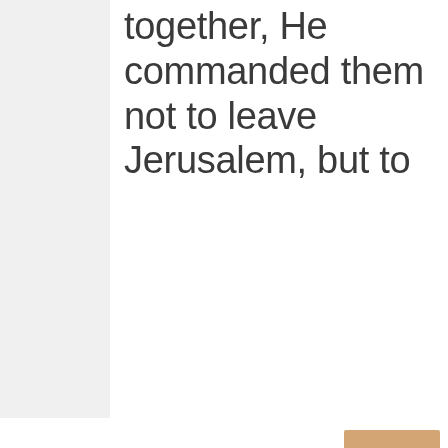together, He commanded them not to leave Jerusalem, but to
This website uses cookies to ensure you get the best experience on our website.
Got It!
Father had promised, "Which," He said, "you heard of